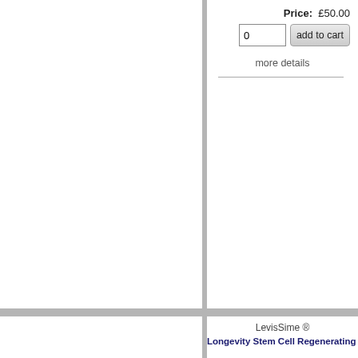Price: £50.00
0
add to cart
more details
LevisSime ®
Longevity Stem Cell Regenerating Ser
Stem Cells
50 ml
[Figure (photo): Two black LONGEVITY product boxes/containers - a rectangular box and a cylindrical bottle, both branded with LevisSime and LONGEVITY text]